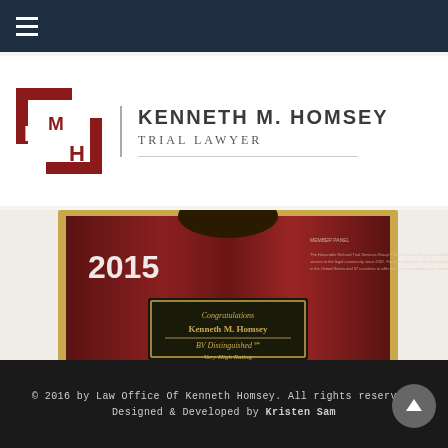≡ (navigation menu)
[Figure (logo): Kenneth M. Homsey Trial Lawyer logo with KMH monogram in red square bracket design]
[Figure (photo): 2015 award plaque for Kenneth M. Homsey, BV Distinguished Very High Rating, on dark wood background]
© 2016 by Law Office Of Kenneth Homsey. All rights reserved. Designed & Developed by Kristen Sam